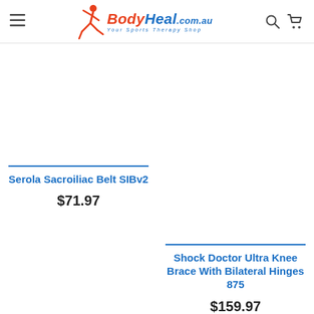[Figure (logo): BodyHeal.com.au logo with running figure and tagline 'Your Sports Therapy Shop']
Serola Sacroiliac Belt SIBv2
$71.97
Shock Doctor Ultra Knee Brace With Bilateral Hinges 875
$159.97